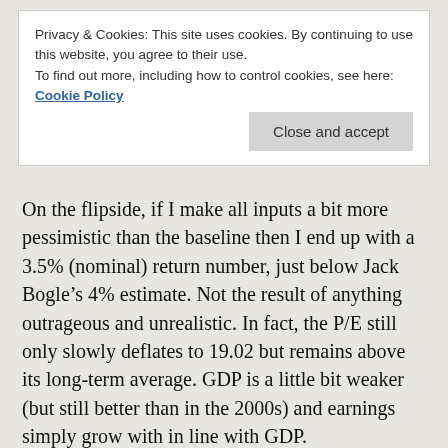Privacy & Cookies: This site uses cookies. By continuing to use this website, you agree to their use.
To find out more, including how to control cookies, see here: Cookie Policy
Close and accept
On the flipside, if I make all inputs a bit more pessimistic than the baseline then I end up with a 3.5% (nominal) return number, just below Jack Bogle’s 4% estimate. Not the result of anything outrageous and unrealistic. In fact, the P/E still only slowly deflates to 19.02 but remains above its long-term average. GDP is a little bit weaker (but still better than in the 2000s) and earnings simply grow with in line with GDP.
Also noteworthy: Not even in a very optimistic